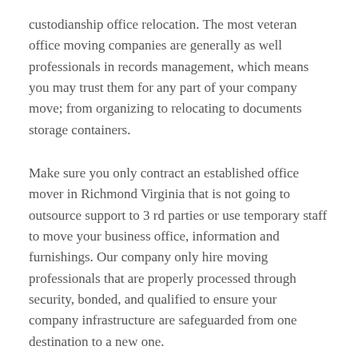custodianship office relocation. The most veteran office moving companies are generally as well professionals in records management, which means you may trust them for any part of your company move; from organizing to relocating to documents storage containers.
Make sure you only contract an established office mover in Richmond Virginia that is not going to outsource support to 3 rd parties or use temporary staff to move your business office, information and furnishings. Our company only hire moving professionals that are properly processed through security, bonded, and qualified to ensure your company infrastructure are safeguarded from one destination to a new one.